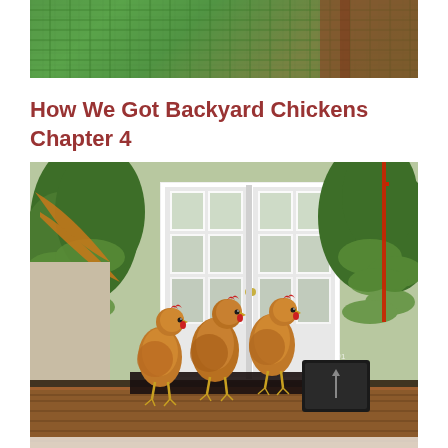[Figure (photo): Top portion of a chicken coop or garden enclosure with green wire/netting fencing visible against a reddish-brown structure]
How We Got Backyard Chickens Chapter 4
[Figure (photo): Three brown/golden chickens (hens) standing on a wooden deck in front of white French doors, surrounded by pine trees. A black box and UI overlay buttons (heart/search) are visible in the bottom-right corner.]